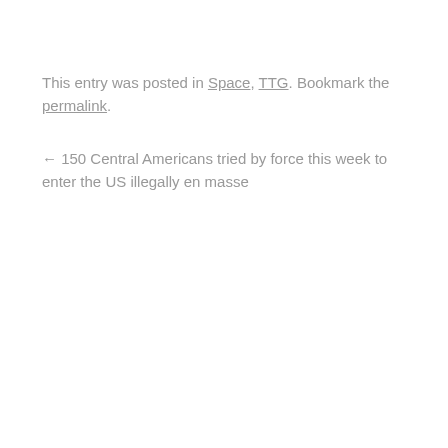This entry was posted in Space, TTG. Bookmark the permalink.
← 150 Central Americans tried by force this week to enter the US illegally en masse